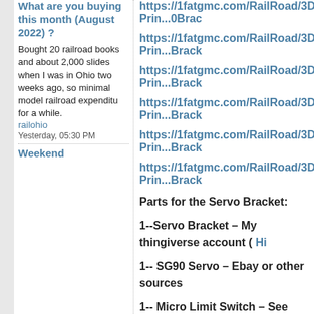What are you buying this month (August 2022) ?
Bought 20 railroad books and about 2,000 slides when I was in Ohio two weeks ago, so minimal model railroad expenditu for a while.
railohio
Yesterday, 05:30 PM
Weekend
https://1fatgmc.com/RailRoad/3D-Prin...0Brac
https://1fatgmc.com/RailRoad/3D-Prin...Brack
https://1fatgmc.com/RailRoad/3D-Prin...Brack
https://1fatgmc.com/RailRoad/3D-Prin...Brack
https://1fatgmc.com/RailRoad/3D-Prin...Brack
https://1fatgmc.com/RailRoad/3D-Prin...Brack
Parts for the Servo Bracket:
1--Servo Bracket – My thingiverse account ( Hi
1-- SG90 Servo – Ebay or other sources
1-- Micro Limit Switch – See picture for dimen 'micro switch kw11-3z' or 'MXRS SPDT 1NO 1 Momentary') You can find a couple links to pos the limit switch on my site.
2-- #4 X 3/8" Pan Head Phillips screws (to mou bracket)
1-- #4 X 1/2" Pan Head Phillips screw (to moun pad under it)